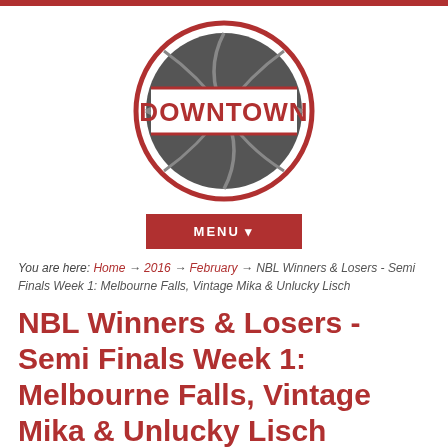[Figure (logo): Downtown basketball logo: dark gray basketball inside a red circle with a white rectangle banner reading DOWNTOWN in red bold serif text]
MENU ▼
You are here: Home → 2016 → February → NBL Winners & Losers - Semi Finals Week 1: Melbourne Falls, Vintage Mika & Unlucky Lisch
NBL Winners & Losers - Semi Finals Week 1: Melbourne Falls, Vintage Mika & Unlucky Lisch